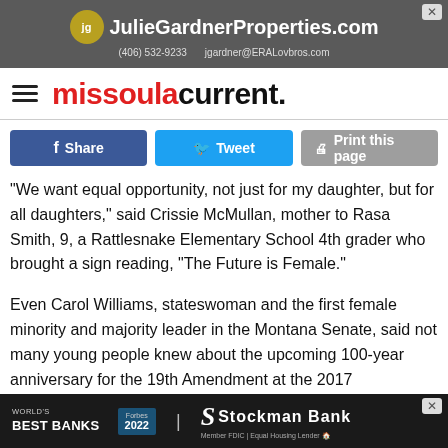[Figure (other): Advertisement banner for JulieGardnerProperties.com with phone (406) 532-9233 and email jgardner@ERALovbros.com]
missoula current.
Share  Tweet  Print this page
“We want equal opportunity, not just for my daughter, but for all daughters,” said Crissie McMullan, mother to Rasa Smith, 9, a Rattlesnake Elementary School 4th grader who brought a sign reading, “The Future is Female.”
Even Carol Williams, stateswoman and the first female minority and majority leader in the Montana Senate, said not many young people knew about the upcoming 100-year anniversary for the 19th Amendment at the 2017
[Figure (other): Advertisement banner for Stockman Bank - Forbes World's Best Banks 2022]